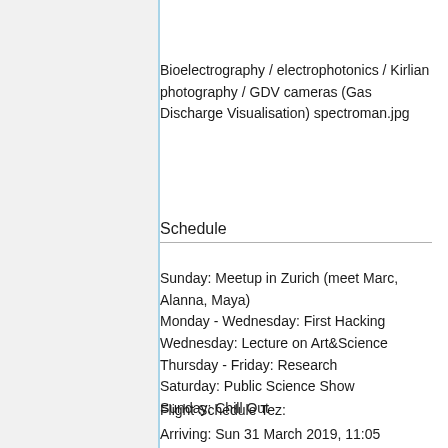Bioelectrography / electrophotonics / Kirlian photography / GDV cameras (Gas Discharge Visualisation) spectroman.jpg
Schedule
Sunday: Meetup in Zurich (meet Marc, Alanna, Maya)
Monday - Wednesday: First Hacking
Wednesday: Lecture on Art&Science
Thursday - Friday: Research
Saturday: Public Science Show
Sunday: Chill Out
Flight Schedule Tez:
Arriving: Sun 31 March 2019, 11:05